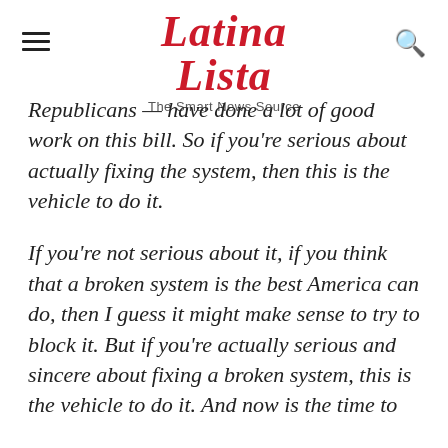Latina Lista – The Smart News Source
Republicans — have done a lot of good work on this bill. So if you're serious about actually fixing the system, then this is the vehicle to do it.
If you're not serious about it, if you think that a broken system is the best America can do, then I guess it might make sense to try to block it. But if you're actually serious and sincere about fixing a broken system, this is the vehicle to do it. And now is the time to